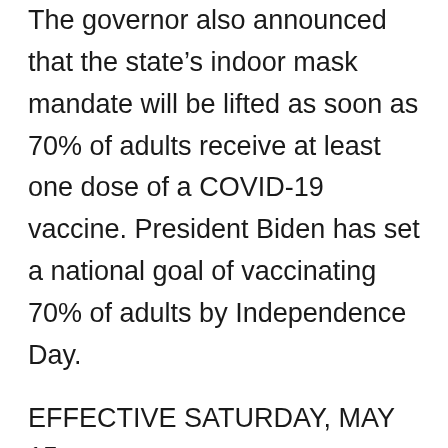The governor also announced that the state's indoor mask mandate will be lifted as soon as 70% of adults receive at least one dose of a COVID-19 vaccine. President Biden has set a national goal of vaccinating 70% of adults by Independence Day.
EFFECTIVE SATURDAY, MAY 15:
INDOOR AND OUTDOOR VENUES. Indoor and outdoor venues may resume normal operations, all